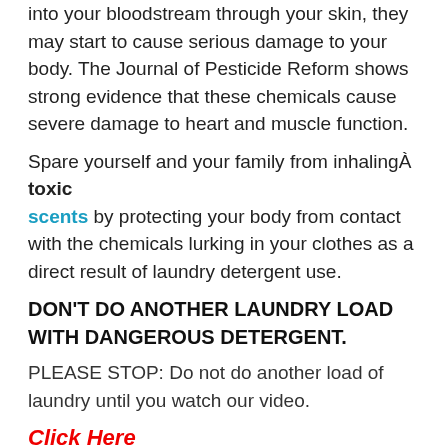into your bloodstream through your skin, they may start to cause serious damage to your body. The Journal of Pesticide Reform shows strong evidence that these chemicals cause severe damage to heart and muscle function.
Spare yourself and your family from inhalingÂ toxic scents by protecting your body from contact with the chemicals lurking in your clothes as a direct result of laundry detergent use.
DONâ€™T DO ANOTHER LAUNDRY LOAD WITH DANGEROUS DETERGENT.
PLEASE STOP: Do not do another load of laundry until you watch our video.
Click Here